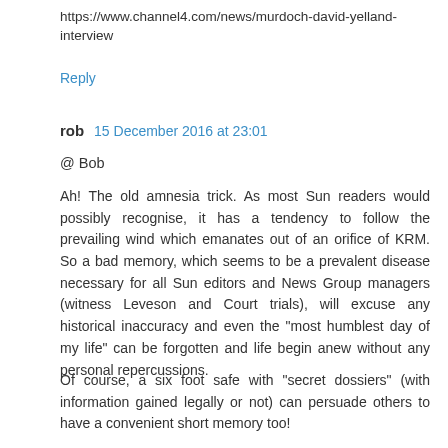https://www.channel4.com/news/murdoch-david-yelland-interview
Reply
rob  15 December 2016 at 23:01
@ Bob
Ah! The old amnesia trick. As most Sun readers would possibly recognise, it has a tendency to follow the prevailing wind which emanates out of an orifice of KRM. So a bad memory, which seems to be a prevalent disease necessary for all Sun editors and News Group managers (witness Leveson and Court trials), will excuse any historical inaccuracy and even the "most humblest day of my life" can be forgotten and life begin anew without any personal repercussions.
Of course, a six foot safe with "secret dossiers" (with information gained legally or not) can persuade others to have a convenient short memory too!